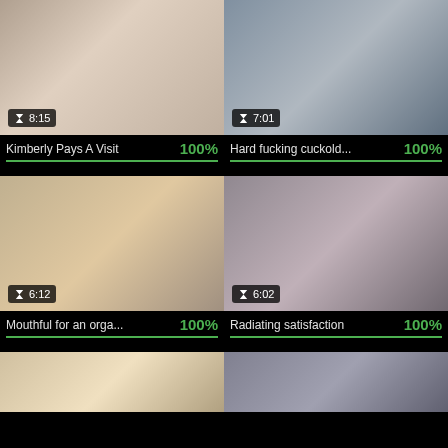[Figure (photo): Video thumbnail - Kimberly Pays A Visit, duration 8:15]
Kimberly Pays A Visit  100%
[Figure (photo): Video thumbnail - Hard fucking cuckold..., duration 7:01]
Hard fucking cuckold...  100%
[Figure (photo): Video thumbnail - Mouthful for an orga..., duration 6:12]
Mouthful for an orga...  100%
[Figure (photo): Video thumbnail - Radiating satisfaction, duration 6:02]
Radiating satisfaction  100%
[Figure (photo): Video thumbnail - partial, bottom row left]
[Figure (photo): Video thumbnail - partial, bottom row right]